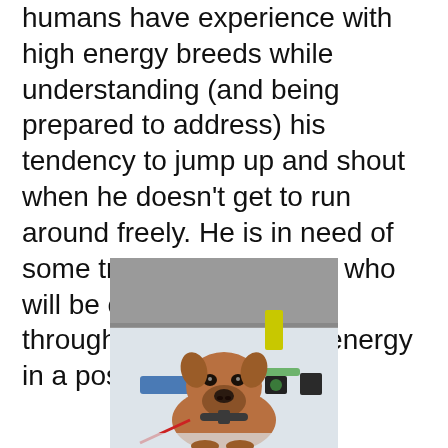humans have experience with high energy breeds while understanding (and being prepared to address) his tendency to jump up and shout when he doesn't get to run around freely. He is in need of some training and people who will be committed to work through his crazy puppy energy in a positive way.
[Figure (photo): A brown/tan pit bull type dog standing in a snowy outdoor area, looking at camera. Background shows snow, a wall, and some colorful objects.]